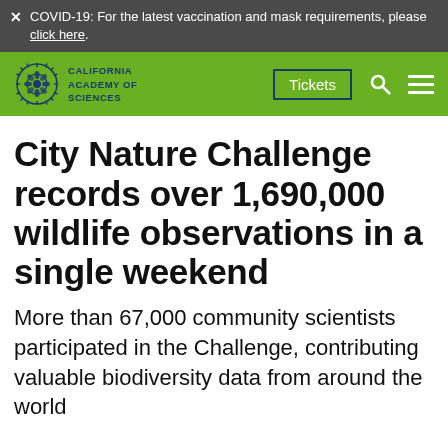× COVID-19: For the latest vaccination and mask requirements, please click here.
[Figure (logo): California Academy of Sciences logo with stylized sun/flower emblem and navigation bar with Tickets button, search icon, and hamburger menu on green background]
City Nature Challenge records over 1,690,000 wildlife observations in a single weekend
More than 67,000 community scientists participated in the Challenge, contributing valuable biodiversity data from around the world